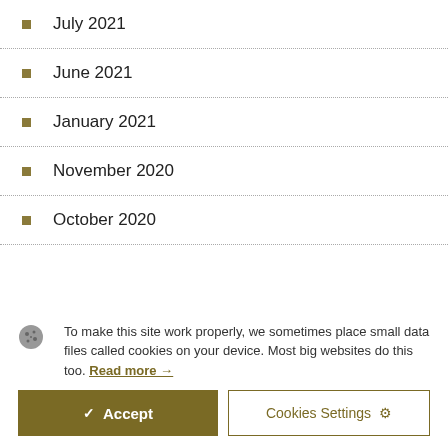July 2021
June 2021
January 2021
November 2020
October 2020
To make this site work properly, we sometimes place small data files called cookies on your device. Most big websites do this too. Read more →
✓ Accept
Cookies Settings ⚙